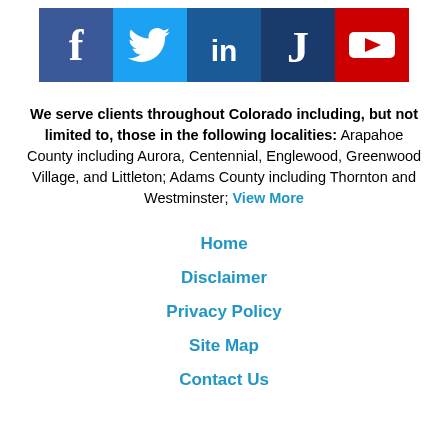[Figure (illustration): Row of five social media icons: Facebook (blue), Twitter (light blue), LinkedIn (dark blue), Justia (dark blue with J), YouTube (red with play button)]
We serve clients throughout Colorado including, but not limited to, those in the following localities: Arapahoe County including Aurora, Centennial, Englewood, Greenwood Village, and Littleton; Adams County including Thornton and Westminster; View More
Home
Disclaimer
Privacy Policy
Site Map
Contact Us